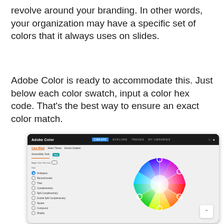revolve around your branding. In other words, your organization may have a specific set of colors that it always uses on slides.
Adobe Color is ready to accommodate this. Just below each color swatch, input a color hex code. That's the best way to ensure an exact color match.
[Figure (screenshot): Screenshot of Adobe Color web application showing the color wheel interface with navigation tabs (Color Wheel, Select Theme, Extract Gradient, Accessibility Tools), color harmony options in sidebar (Analogous selected, Monochromatic, Triad, Complementary, Split Complementary, Double Split Complementary, Square, Compound, Shades), and a multicolored circular color wheel in the center with selection handles.]